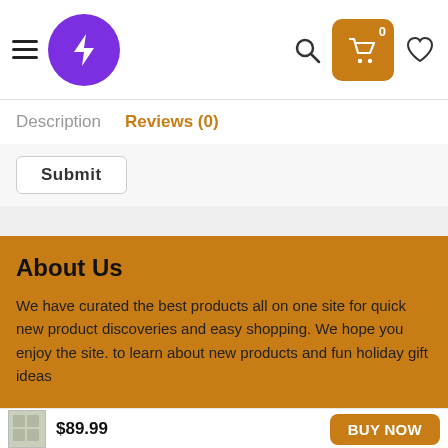[Figure (logo): Purple circle logo with white lightning bolt icon]
Description   Reviews (0)
Submit
About Us
We have curated the best products all on one site for quick new product discoveries and easy shopping. We hope you enjoy the site. to learn about new products and fun holiday gift ideas
$89.99
BUY NOW